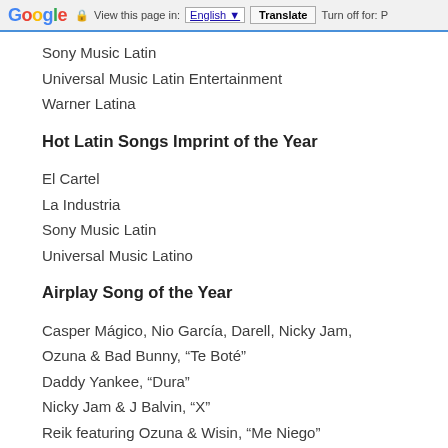Google  View this page in: English [▼]  Translate  Turn off for: P
Sony Music Latin
Universal Music Latin Entertainment
Warner Latina
Hot Latin Songs Imprint of the Year
El Cartel
La Industria
Sony Music Latin
Universal Music Latino
Airplay Song of the Year
Casper Mágico, Nio García, Darell, Nicky Jam, Ozuna & Bad Bunny, “Te Boté”
Daddy Yankee, “Dura”
Nicky Jam & J Balvin, “X”
Reik featuring Ozuna & Wisin, “Me Niego”